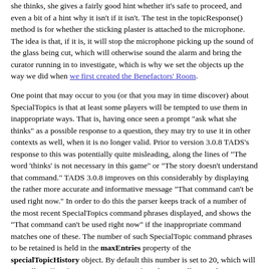she thinks, she gives a fairly good hint whether it's safe to proceed, and even a bit of a hint why it isn't if it isn't. The test in the topicResponse() method is for whether the sticking plaster is attached to the microphone. The idea is that, if it is, it will stop the microphone picking up the sound of the glass being cut, which will otherwise sound the alarm and bring the curator running in to investigate, which is why we set the objects up the way we did when we first created the Benefactors' Room.
One point that may occur to you (or that you may in time discover) about SpecialTopics is that at least some players will be tempted to use them in inappropriate ways. That is, having once seen a prompt "ask what she thinks" as a possible response to a question, they may try to use it in other contexts as well, when it is no longer valid. Prior to version 3.0.8 TADS's response to this was potentially quite misleading, along the lines of "The word 'thinks' is not necessary in this game" or "The story doesn't understand that command." TADS 3.0.8 improves on this considerably by displaying the rather more accurate and informative message "That command can't be used right now." In order to do this the parser keeps track of a number of the most recent SpecialTopics command phrases displayed, and shows the "That command can't be used right now" if the inappropriate command matches one of these. The number of such SpecialTopic command phrases to be retained is held in the maxEntries property of the specialTopicHistory object. By default this number is set to 20, which will normally suffice for most games (since few players will remember more than the last 20 SpecialTopic command phrases displayed, while the number is not so large as to make a significant impact on performance). But if you like, you can set it to some other value; if you set it to nil, instead of checking against the most recent list the parser will scan all the SpecialTopics in the game (regardless of whether they've yet been suggested or not).